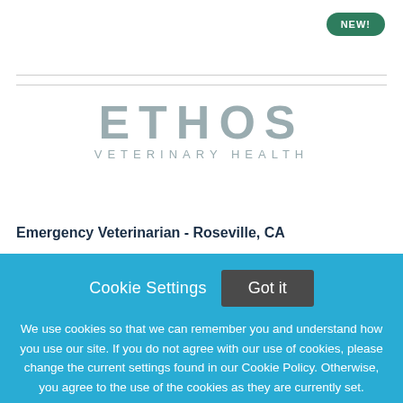[Figure (logo): NEW! badge - green rounded pill button in top right corner]
[Figure (logo): Ethos Veterinary Health logo - grey block letters ETHOS with VETERINARY HEALTH below]
Emergency Veterinarian - Roseville, CA
Cookie Settings   Got it
We use cookies so that we can remember you and understand how you use our site. If you do not agree with our use of cookies, please change the current settings found in our Cookie Policy. Otherwise, you agree to the use of the cookies as they are currently set.